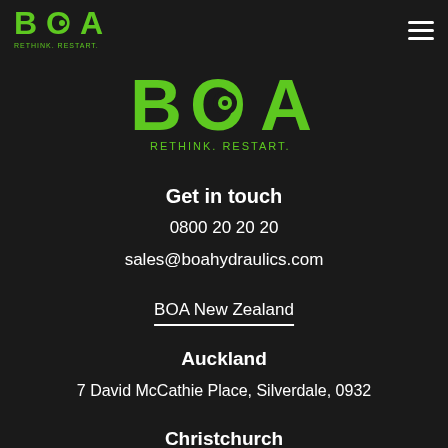[Figure (logo): BOA Hydraulics logo — green BOA letters with tagline RETHINK. RESTART. in top-left corner of page header]
[Figure (logo): BOA Hydraulics logo — large green BOA letters with tagline RETHINK. RESTART. centered on page]
Get in touch
0800 20 20 20
sales@boahydraulics.com
BOA New Zealand
Auckland
7 David McCathie Place, Silverdale, 0932
Christchurch